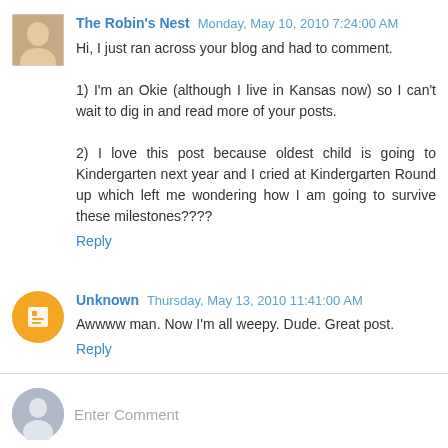The Robin's Nest Monday, May 10, 2010 7:24:00 AM
Hi, I just ran across your blog and had to comment.

1) I'm an Okie (although I live in Kansas now) so I can't wait to dig in and read more of your posts.

2) I love this post because oldest child is going to Kindergarten next year and I cried at Kindergarten Round up which left me wondering how I am going to survive these milestones????
Reply
Unknown Thursday, May 13, 2010 11:41:00 AM
Awwww man. Now I'm all weepy. Dude. Great post.
Reply
Enter Comment